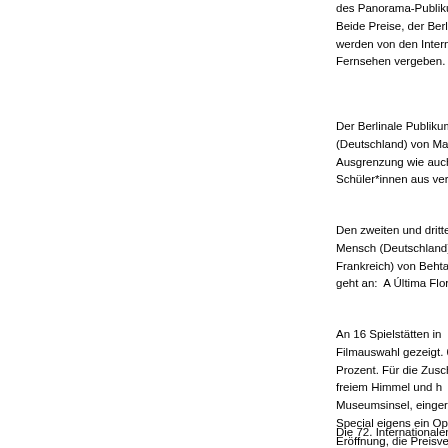des Panorama Publikum... Beide Preise, der Berlin... werden von den Intern... Fernsehen vergeben.
Der Berlinale Publikum... (Deutschland) von Mar... Ausgrenzung wie auch h... Schüler*innen aus versc...
Den zweiten und dritte... Mensch (Deutschland) v... Frankreich) von Behtash... geht an: A Última Flore...
An 16 Spielstätten in... Filmauswahl gezeigt. 60... Prozent. Für die Zusch... freiem Himmel und h... Museumsinsel, eingerah... Special eigens ein Ope... Eröffnung, die Preisverl... des Berlinale Publikums... Bedingungen reisten za... präsentieren und mit den...
Die 72. Internationalen R...